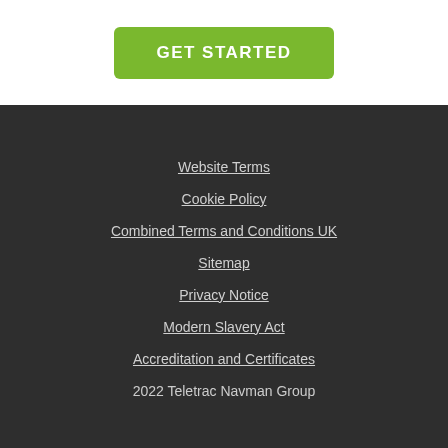GET STARTED
Website Terms
Cookie Policy
Combined Terms and Conditions UK
Sitemap
Privacy Notice
Modern Slavery Act
Accreditation and Certificates
2022 Teletrac Navman Group